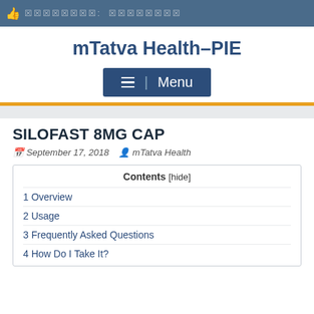mTatva Health-PIE [redacted header]
mTatva Health-PIE
[Figure (screenshot): Menu button with hamburger icon and text 'Menu' on dark blue background]
SILOFAST 8MG CAP
September 17, 2018  mTatva Health
| Contents [hide] |
| --- |
| 1 Overview |
| 2 Usage |
| 3 Frequently Asked Questions |
| 4 How Do I Take It? |